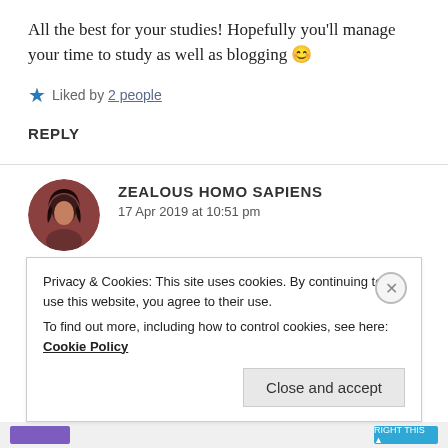All the best for your studies! Hopefully you'll manage your time to study as well as blogging 😊
Liked by 2 people
REPLY
ZEALOUS HOMO SAPIENS
17 Apr 2019 at 10:51 pm
Thank you so much. I hope I am able to manage
Privacy & Cookies: This site uses cookies. By continuing to use this website, you agree to their use. To find out more, including how to control cookies, see here: Cookie Policy
Close and accept